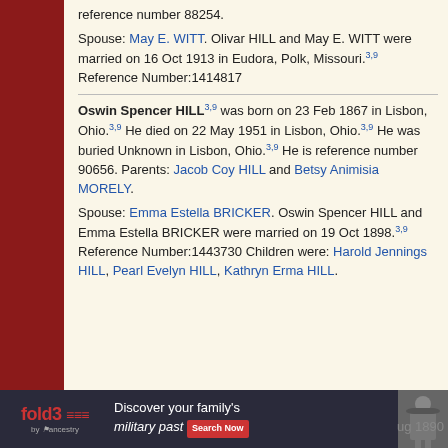reference number 88254.
Spouse: May E. WITT. Olivar HILL and May E. WITT were married on 16 Oct 1913 in Eudora, Polk, Missouri.3,9 Reference Number:1414817
Oswin Spencer HILL3,9 was born on 23 Feb 1867 in Lisbon, Ohio.3,9 He died on 22 May 1951 in Lisbon, Ohio.3,9 He was buried Unknown in Lisbon, Ohio.3,9 He is reference number 90656. Parents: Jacob Coy HILL and Betsy Animisia MORELY.
Spouse: Emma Estella BRICKER. Oswin Spencer HILL and Emma Estella BRICKER were married on 19 Oct 1898.3,9 Reference Number:1443730 Children were: Harold Jennings HILL, Pearl Evelyn HILL, Kathryn Erma HILL.
[Figure (infographic): fold3 by ancestry advertisement banner: Discover your family's military past. Search Now button. Soldier image on right. 'ug 1890' text visible.]